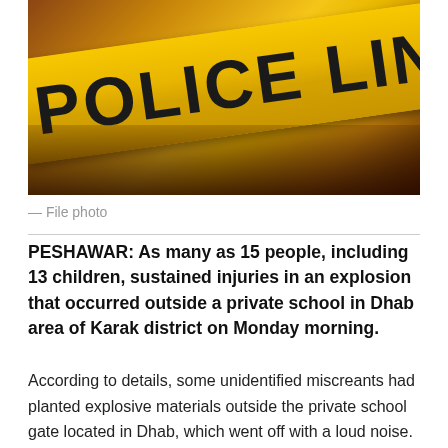[Figure (photo): Yellow police line tape reading 'POLICE LINE DO NOT' stretched diagonally across a dark reddish-brown background]
— File photo
PESHAWAR: As many as 15 people, including 13 children, sustained injuries in an explosion that occurred outside a private school in Dhab area of Karak district on Monday morning.
According to details, some unidentified miscreants had planted explosive materials outside the private school gate located in Dhab, which went off with a loud noise. Subsequently, 15 people